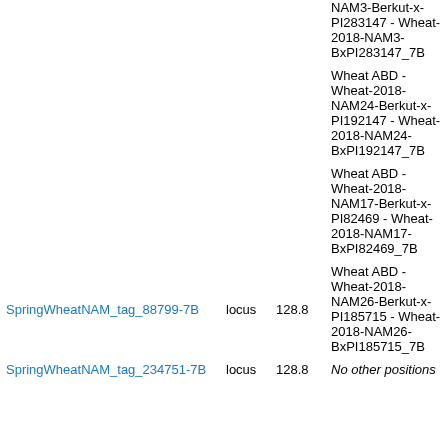| Name | Type | Position | Other Positions |
| --- | --- | --- | --- |
|  |  |  | NAM3-Berkut-x-PI283147 - Wheat-2018-NAM3-BxPI283147_7B |
|  |  |  | Wheat ABD - Wheat-2018-NAM24-Berkut-x-PI192147 - Wheat-2018-NAM24-BxPI192147_7B |
|  |  |  | Wheat ABD - Wheat-2018-NAM17-Berkut-x-PI82469 - Wheat-2018-NAM17-BxPI82469_7B |
| SpringWheatNAM_tag_88799-7B | locus | 128.8 | Wheat ABD - Wheat-2018-NAM26-Berkut-x-PI185715 - Wheat-2018-NAM26-BxPI185715_7B |
| SpringWheatNAM_tag_234751-7B | locus | 128.8 | No other positions |